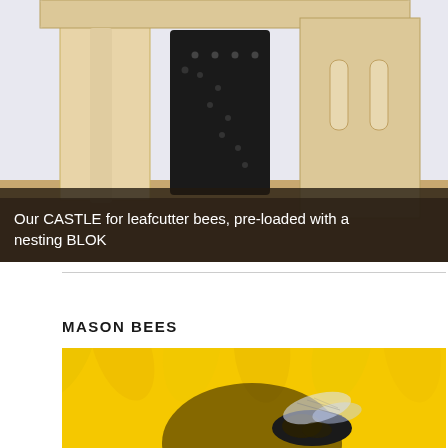[Figure (photo): Photo of a wooden bee house (CASTLE) pre-loaded with a nesting BLOK. A wooden structure with light-colored wood panels and a black perforated cylinder/block in the center. The image has a dark overlay at the bottom with white caption text.]
Our CASTLE for leafcutter bees, pre-loaded with a nesting BLOK
MASON BEES
[Figure (photo): Close-up photo of a mason bee on a bright yellow sunflower. The bee is dark/black with visible wing venation against the vivid yellow petals.]